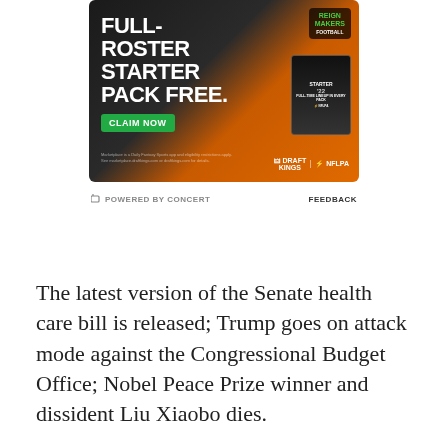[Figure (other): DraftKings Reign Makers Football advertisement showing 'Full-Roster Starter Pack Free' with a 'Claim Now' green button, DraftKings and NFLPA logos on an orange and dark background]
POWERED BY CONCERT   FEEDBACK
The latest version of the Senate health care bill is released; Trump goes on attack mode against the Congressional Budget Office; Nobel Peace Prize winner and dissident Liu Xiaobo dies.